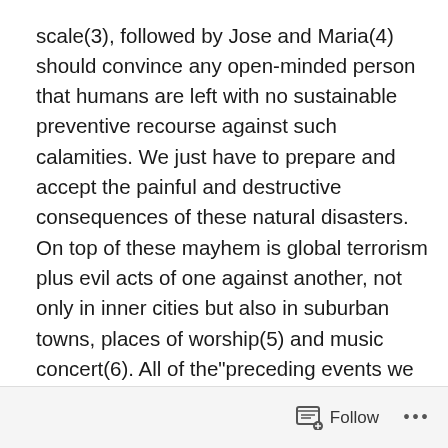scale(3), followed by Jose and Maria(4) should convince any open-minded person that humans are left with no sustainable preventive recourse against such calamities. We just have to prepare and accept the painful and destructive consequences of these natural disasters. On top of these mayhem is global terrorism plus evil acts of one against another, not only in inner cities but also in suburban towns, places of worship(5) and music concert(6). All of the"preceding events we gripe about, but accept as facts of life, taken as normative and we move on.
As devastating those cataclysms are,  what can be the worst, more natural, and definitive than death itself? Indeed, we are very  and ephemeral! Yet, death is taken
Follow